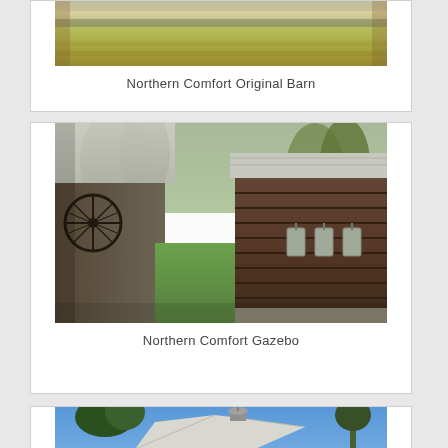[Figure (photo): Partial top of card showing Northern Comfort Original Barn image — a rural landscape with golden/green field under overcast sky]
Northern Comfort Original Barn
[Figure (photo): Northern Comfort Gazebo — outdoor scene showing rustic wooden barn wall with wagon wheel, large log cabin exterior with metal buckets hanging, green lawn, and white gazebo in background among trees]
Northern Comfort Gazebo
[Figure (photo): Partial view of barn roof with weathervane/cupola against blue sky and trees — third card partially visible at bottom]